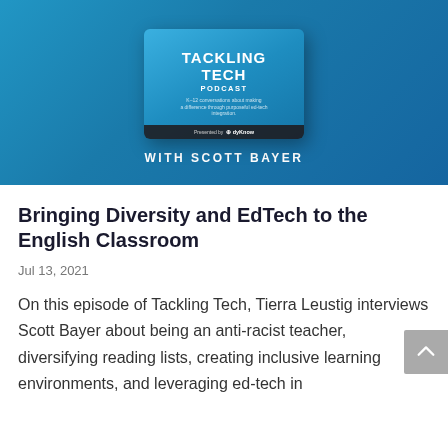[Figure (photo): Tackling Tech Podcast cover art with blue background showing a podcast box titled 'TACKLING TECH PODCAST' with text 'WITH SCOTT BAYER' below]
Bringing Diversity and EdTech to the English Classroom
Jul 13, 2021
On this episode of Tackling Tech, Tierra Leustig interviews Scott Bayer about being an anti-racist teacher, diversifying reading lists, creating inclusive learning environments, and leveraging ed-tech in